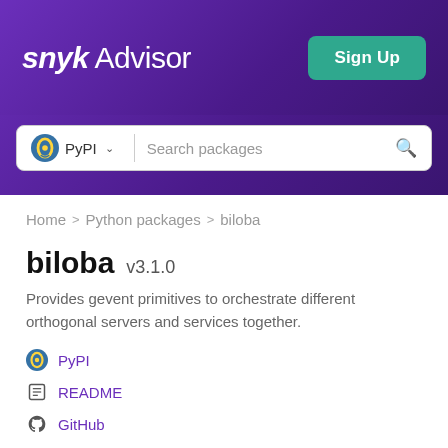snyk Advisor
PyPI  Search packages
Home > Python packages > biloba
biloba v3.1.0
Provides gevent primitives to orchestrate different orthogonal servers and services together.
PyPI
README
GitHub
UNKNOWN
Latest version published 6 years ago